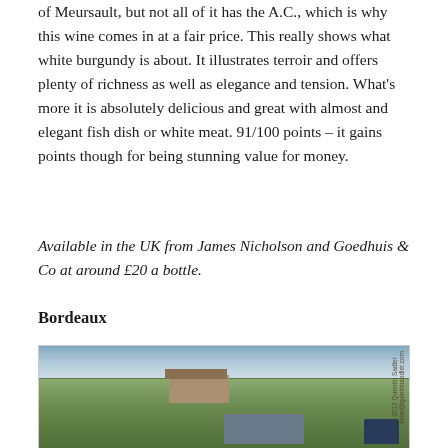of Meursault, but not all of it has the A.C., which is why this wine comes in at a fair price. This really shows what white burgundy is about. It illustrates terroir and offers plenty of richness as well as elegance and tension. What's more it is absolutely delicious and great with almost and elegant fish dish or white meat. 91/100 points – it gains points though for being stunning value for money.
Available in the UK from James Nicholson and Goedhuis & Co at around £20 a bottle.
Bordeaux
[Figure (photo): Photograph of a vineyard with lush green grapevines in the foreground, a building and tree line in the middle distance, vehicles parked at the right, and a partly cloudy sky above. Watermark reads '©2012 Quentin Sadler wine@quentinsadler.com'.]